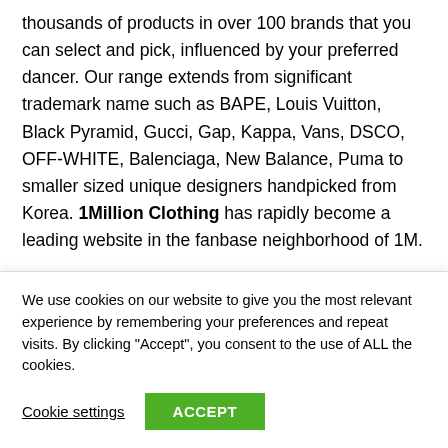thousands of products in over 100 brands that you can select and pick, influenced by your preferred dancer. Our range extends from significant trademark name such as BAPE, Louis Vuitton, Black Pyramid, Gucci, Gap, Kappa, Vans, DSCO, OFF-WHITE, Balenciaga, New Balance, Puma to smaller sized unique designers handpicked from Korea. 1Million Clothing has rapidly become a leading website in the fanbase neighborhood of 1M.
Even if you're a little follower on your method to becoming a huge one, we want to exist every action of the method.
We use cookies on our website to give you the most relevant experience by remembering your preferences and repeat visits. By clicking "Accept", you consent to the use of ALL the cookies.